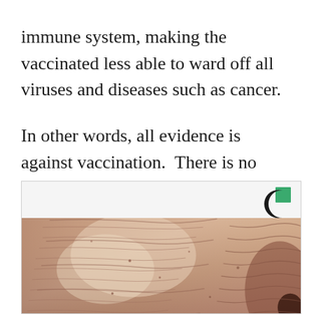immune system, making the vaccinated less able to ward off all viruses and diseases such as cancer.
In other words, all evidence is against vaccination.  There is no evidence in favor of it.
[Figure (photo): Close-up photograph of elderly person's face showing aged, wrinkled skin texture with visible skin folds and lines near the cheek and ear area. A logo (letter C with green square) appears in the upper right corner of the image frame.]